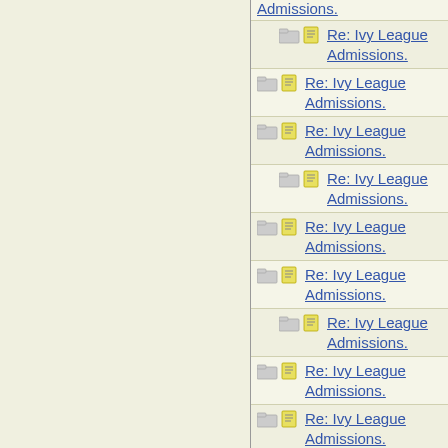Re: Ivy League Admissions.
Re: Ivy League Admissions.
Re: Ivy League Admissions.
Re: Ivy League Admissions.
Re: Ivy League Admissions.
Re: Ivy League Admissions.
Re: Ivy League Admissions.
Re: Ivy League Admissions.
Re: Ivy League Admissions.
Re: Ivy League Admissions.
Re: Ivy League Admissions.